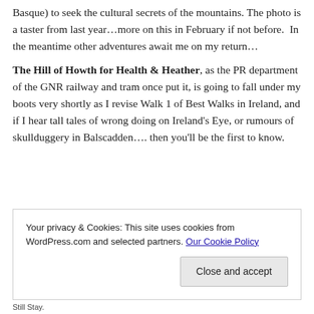Basque) to seek the cultural secrets of the mountains. The photo is a taster from last year…more on this in February if not before.  In the meantime other adventures await me on my return…
The Hill of Howth for Health & Heather, as the PR department of the GNR railway and tram once put it, is going to fall under my boots very shortly as I revise Walk 1 of Best Walks in Ireland, and if I hear tall tales of wrong doing on Ireland's Eye, or rumours of skullduggery in Balscadden…. then you'll be the first to know.
Your privacy & Cookies: This site uses cookies from WordPress.com and selected partners. Our Cookie Policy
Close and accept
Still Stay.